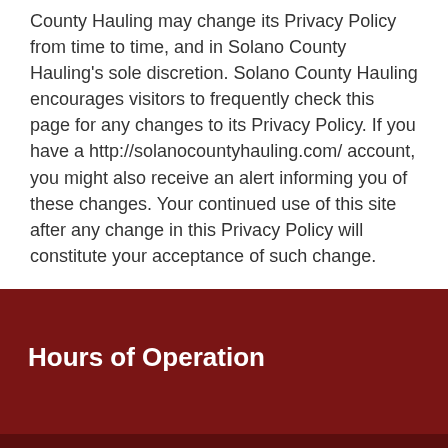County Hauling may change its Privacy Policy from time to time, and in Solano County Hauling's sole discretion. Solano County Hauling encourages visitors to frequently check this page for any changes to its Privacy Policy. If you have a http://solanocountyhauling.com/ account, you might also receive an alert informing you of these changes. Your continued use of this site after any change in this Privacy Policy will constitute your acceptance of such change.
Hours of Operation
(707) 718-2281